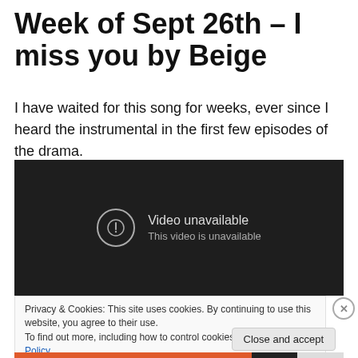Week of Sept 26th – I miss you by Beige
I have waited for this song for weeks, ever since I heard the instrumental in the first few episodes of the drama.
[Figure (screenshot): Embedded YouTube video player showing 'Video unavailable – This video is unavailable' error message on a dark background.]
Privacy & Cookies: This site uses cookies. By continuing to use this website, you agree to their use.
To find out more, including how to control cookies, see here: Cookie Policy